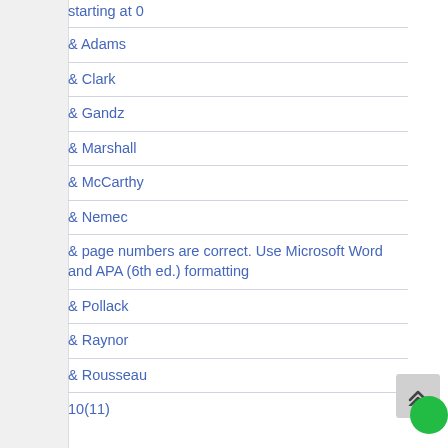starting at 0
& Adams
& Clark
& Gandz
& Marshall
& McCarthy
& Nemec
& page numbers are correct. Use Microsoft Word and APA (6th ed.) formatting
& Pollack
& Raynor
& Rousseau
10(11)